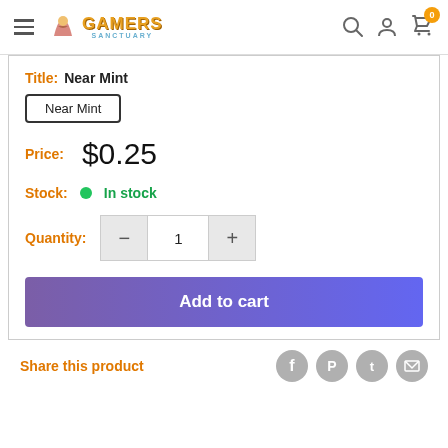[Figure (screenshot): Gamers Sanctuary website header with hamburger menu, logo, search icon, account icon, and cart icon with badge showing 0]
Title: Near Mint
Near Mint
Price: $0.25
Stock: In stock
Quantity: 1
Add to cart
Share this product